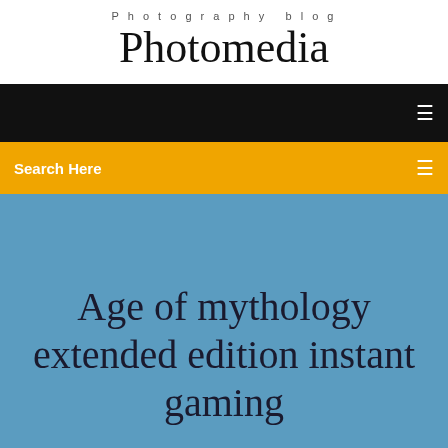Photography blog
Photomedia
Search Here
Age of mythology extended edition instant gaming